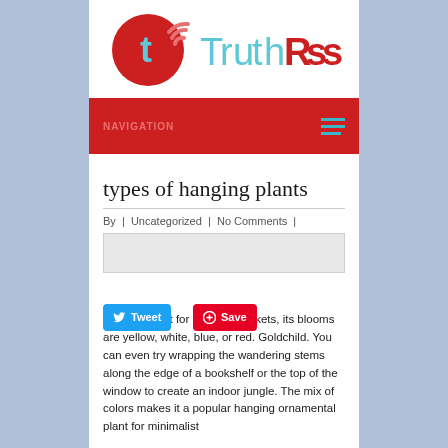[Figure (logo): TruthRss logo with red circle containing letter t and wifi signal arcs, next to cyan/red TruthRss text]
NAVIGATION
types of hanging plants
By | Uncategorized | No Comments |
[Figure (other): Gray image placeholder rectangle]
An ideal plant for hanging baskets, its blooms are yellow, white, blue, or red. Goldchild. You can even try wrapping the wandering stems along the edge of a bookshelf or the top of the window to create an indoor jungle. The mix of colors makes it a popular hanging ornamental plant for minimalist